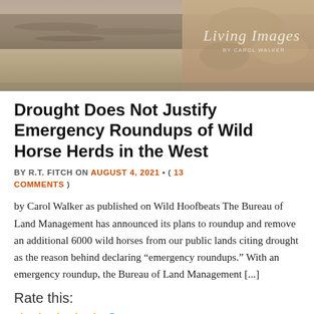[Figure (photo): Header photo showing a desert/drought landscape with sandy rocky terrain and water reflection; 'Living Images by Carol Walker' watermark in cursive script at upper right]
Drought Does Not Justify Emergency Roundups of Wild Horse Herds in the West
BY R.T. FITCH ON AUGUST 4, 2021 • ( 13 COMMENTS )
by Carol Walker as published on Wild Hoofbeats The Bureau of Land Management has announced its plans to roundup and remove an additional 6000 wild horses from our public lands citing drought as the reason behind declaring “emergency roundups.” With an emergency roundup, the Bureau of Land Management [...]
Rate this:
9 Worthy Opinions